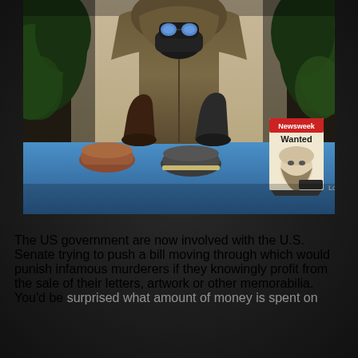[Figure (photo): A person wearing a brown hoodie sweatshirt, face mask, and reflective goggles, sitting behind a table/counter displaying shoes and other items. A Newsweek magazine with 'Wanted' headline is visible on the right side of the table. Foliage visible in background.]
The US government are now involved with the U.S. Senate trying to push a bill moving through which would punish infamous murderers if they knowingly profit from the sale of their letters, artwork or other memorabilia. You'd be surprised what amount of money is spent on